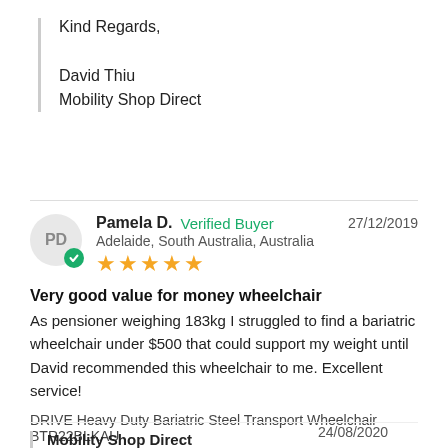Kind Regards,
David Thiu
Mobility Shop Direct
Pamela D.  Verified Buyer   27/12/2019
Adelaide, South Australia, Australia
★★★★★
Very good value for money wheelchair
As pensioner weighing 183kg I struggled to find a bariatric wheelchair under $500 that could support my weight until David recommended this wheelchair to me. Excellent service!
DRIVE Heavy Duty Bariatric Steel Transport Wheelchair BTR22BLKAU
Share   Was this helpful?  👍 2  👎 0
Mobility Shop Direct  24/08/2020